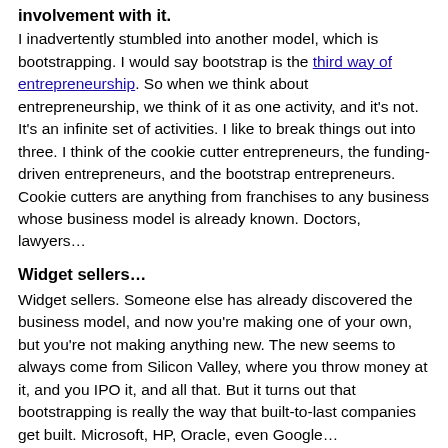involvement with it.
I inadvertently stumbled into another model, which is bootstrapping. I would say bootstrap is the third way of entrepreneurship. So when we think about entrepreneurship, we think of it as one activity, and it's not. It's an infinite set of activities. I like to break things out into three. I think of the cookie cutter entrepreneurs, the funding-driven entrepreneurs, and the bootstrap entrepreneurs. Cookie cutters are anything from franchises to any business whose business model is already known. Doctors, lawyers…
Widget sellers…
Widget sellers. Someone else has already discovered the business model, and now you're making one of your own, but you're not making anything new. The new seems to always come from Silicon Valley, where you throw money at it, and you IPO it, and all that. But it turns out that bootstrapping is really the way that built-to-last companies get built. Microsoft, HP, Oracle, even Google…
So what is bootstrapping? What does that mean?
It means a lot of things. The simplest way I think of it as,